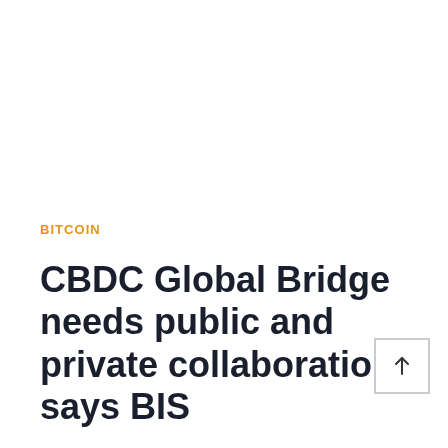BITCOIN
CBDC Global Bridge needs public and private collaboration, says BIS
By Amber Baxter • October 2, 2021